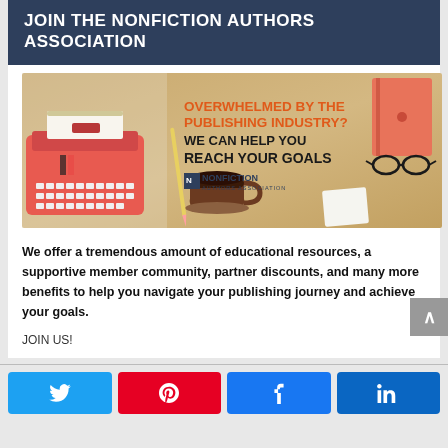JOIN THE NONFICTION AUTHORS ASSOCIATION
[Figure (illustration): Promotional banner for Nonfiction Authors Association showing a red typewriter, coffee cup, red notebook, glasses on a wooden desk background with text: OVERWHELMED BY THE PUBLISHING INDUSTRY? WE CAN HELP YOU REACH YOUR GOALS, and the Nonfiction Authors Association logo.]
We offer a tremendous amount of educational resources, a supportive member community, partner discounts, and many more benefits to help you navigate your publishing journey and achieve your goals.
JOIN US!
Share buttons: Twitter, Pinterest, Facebook, LinkedIn